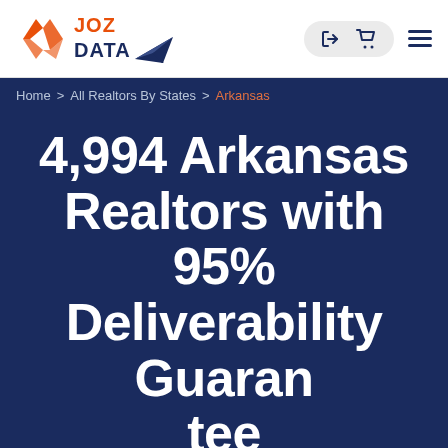[Figure (logo): JOZ DATA logo with orange diamond/angular icon and paper airplane, company name in orange (JOZ) and dark navy (DATA)]
Home > All Realtors By States > Arkansas
4,994 Arkansas Realtors with 95% Deliverability Guarantee